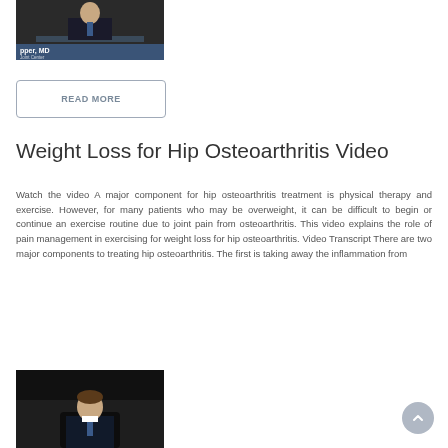[Figure (screenshot): Video thumbnail showing a man in a suit sitting at a desk with a blue name bar overlay reading 'pper, MD' and a subtitle below]
READ MORE
Weight Loss for Hip Osteoarthritis Video
Watch the video A major component for hip osteoarthritis treatment is physical therapy and exercise. However, for many patients who may be overweight, it can be difficult to begin or continue an exercise routine due to joint pain from osteoarthritis. This video explains the role of pain management in exercising for weight loss for hip osteoarthritis. Video Transcript There are two major components to treating hip osteoarthritis. The first is taking away the inflammation from
[Figure (screenshot): Video thumbnail showing a man in a suit and tie seated in a chair against a dark background]